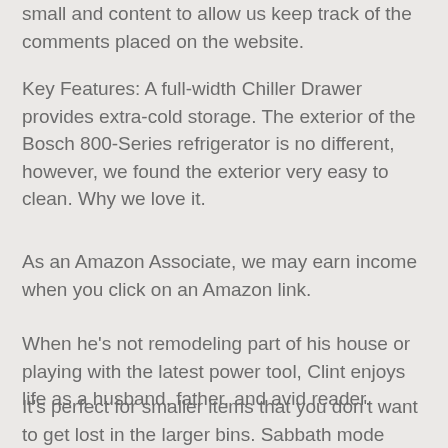small and content to allow us keep track of the comments placed on the website.
Key Features: A full-width Chiller Drawer provides extra-cold storage. The exterior of the Bosch 800-Series refrigerator is no different, however, we found the exterior very easy to clean. Why we love it.
As an Amazon Associate, we may earn income when you click on an Amazon link.
When he's not remodeling part of his house or playing with the latest power tool, Clint enjoys life as a husband, father, and avid reader.
It's perfect for smaller items that you don't want to get lost in the larger bins. Sabbath mode deactivates lighting and other